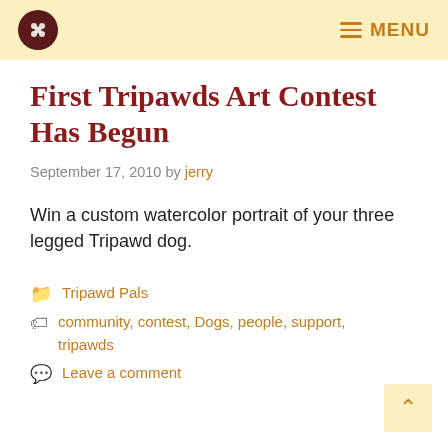Tripawds logo | MENU
First Tripawds Art Contest Has Begun
September 17, 2010 by jerry
Win a custom watercolor portrait of your three legged Tripawd dog.
Tripawd Pals
community, contest, Dogs, people, support, tripawds
Leave a comment